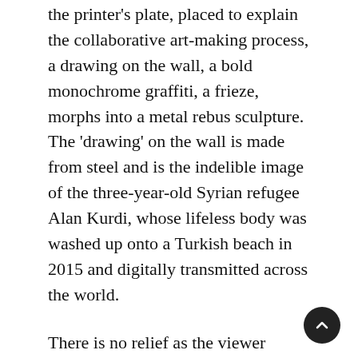the printer's plate, placed to explain the collaborative art-making process, a drawing on the wall, a bold monochrome graffiti, a frieze, morphs into a metal rebus sculpture. The 'drawing' on the wall is made from steel and is the indelible image of the three-year-old Syrian refugee Alan Kurdi, whose lifeless body was washed up onto a Turkish beach in 2015 and digitally transmitted across the world.
There is no relief as the viewer heads into the final hall. More Sweetly Play the Dance (2015), the mammoth multi-screen video installation staged for the opening of the Zeitz MOCAA, is now expanded to its original size. With the iconic megaphones in hand, the procession of the